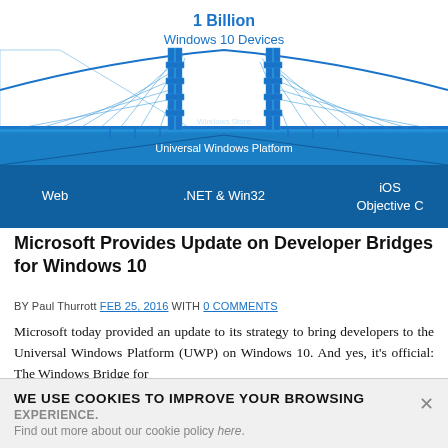[Figure (infographic): Bridge infographic showing '1 Billion Windows 10 Devices' at the top in blue bold text, with a stylized Golden Gate-style bridge in blue. The bridge road level shows 'Windows Store' and 'Universal Windows Platform'. Below the bridge on a blue gradient are three on-ramps labeled 'Web', '.NET & Win32', and 'iOS Objective C'.]
Microsoft Provides Update on Developer Bridges for Windows 10
BY Paul Thurrott FEB 25, 2016 WITH 0 COMMENTS
Microsoft today provided an update to its strategy to bring developers to the Universal Windows Platform (UWP) on Windows 10. And yes, it's official: The Windows Bridge for
WE USE COOKIES TO IMPROVE YOUR BROWSING EXPERIENCE.
Find out more about our cookie policy here.